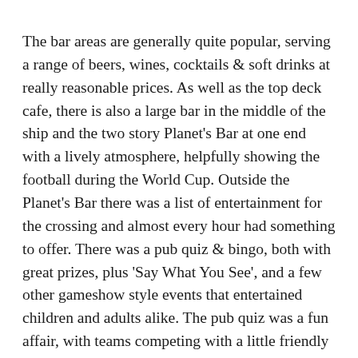The bar areas are generally quite popular, serving a range of beers, wines, cocktails & soft drinks at really reasonable prices. As well as the top deck cafe, there is also a large bar in the middle of the ship and the two story Planet's Bar at one end with a lively atmosphere, helpfully showing the football during the World Cup. Outside the Planet's Bar there was a list of entertainment for the crossing and almost every hour had something to offer. There was a pub quiz & bingo, both with great prizes, plus 'Say What You See', and a few other gameshow style events that entertained children and adults alike. The pub quiz was a fun affair, with teams competing with a little friendly competition throughout, and music rounds leading to amusingly bad sing-alongs.